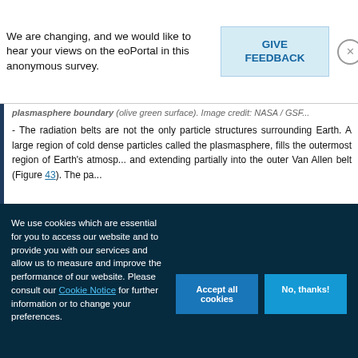We are changing, and we would like to hear your views on the eoPortal in this anonymous survey.
GIVE FEEDBACK
plasmasphere boundary (olive green surface). Image credit: NASA / GSF...
- The radiation belts are not the only particle structures surrounding Earth. A large region of cold dense particles called the plasmasphere, fills the outermost region of Earth's atmosphere called the exosphere and extending partially into the outer Van Allen belt (Figure 43). The pa...
We use cookies which are essential for you to access our website and to provide you with our services and allow us to measure and improve the performance of our website. Please consult our Cookie Notice for further information or to change your preferences.
Accept all cookies
No, thanks!